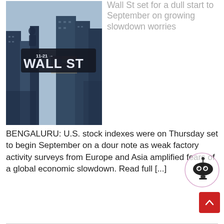[Figure (photo): Wall Street street sign with NYC skyscrapers and American flag in background, double-exposure style photo]
Wall St set for a dull start to September on growing slowdown worries
BENGALURU: U.S. stock indexes were on Thursday set to begin September on a dour note as weak factory activity surveys from Europe and Asia amplified fears of a global economic slowdown. Read full [...]
[Figure (illustration): Robot mascot icon inside a circle with purple/pink border]